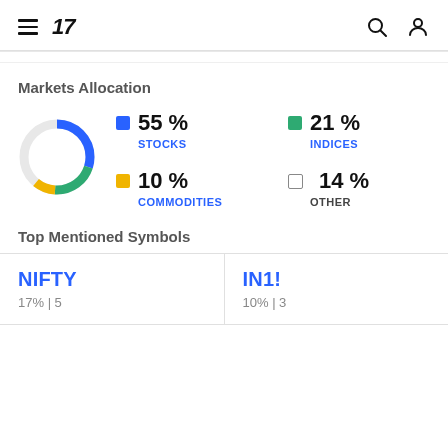TradingView navigation header
Markets Allocation
[Figure (donut-chart): Markets Allocation]
Top Mentioned Symbols
NIFTY
17% | 5
IN1!
10% | 3